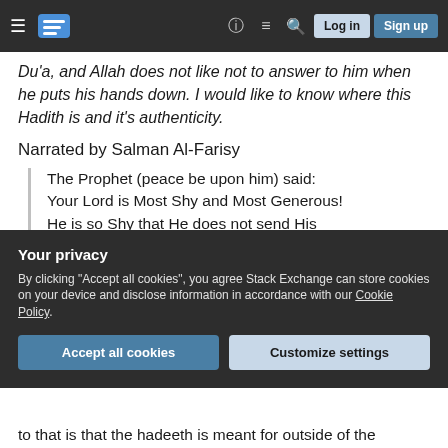Navigation bar with hamburger menu, logo, help, comments, search icons, Log in and Sign up buttons
Du'a, and Allah does not like not to answer to him when he puts his hands down. I would like to know where this Hadith is and it's authenticity.
Narrated by Salman Al-Farisy
The Prophet (peace be upon him) said: Your Lord is Most Shy and Most Generous! He is so Shy that He does not send His Servant's supplications back without
Your privacy
By clicking "Accept all cookies", you agree Stack Exchange can store cookies on your device and disclose information in accordance with our Cookie Policy.
to that is that the hadeeth is meant for outside of the